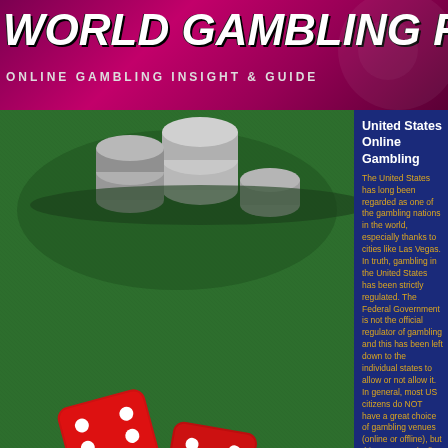WORLD GAMBLING REVIEW
ONLINE GAMBLING INSIGHT & GUIDE
[Figure (photo): Casino chips and red dice on a green felt table]
Homepage
Online Casino Reviews
Getting Started
. Picking a Casino
. Deposit & Withdrawal
. Casino Pros & Cons
. Licensing Jurisdictions
Gambling by Country
. Australia
. Brazil
. Canada
United States Online Gambling
The United States has long been regarded as one of the gambling nations in the world, especially thanks to cities like Las Vegas. In truth, gambling in the United States has been strictly regulated. The Federal Government is not the official regulator of gambling and this has been left down to the individual states to allow or not allow it. In general, most US citizens do NOT have a great choice of gambling venues (online or offline), but things are gradually improving.
In the US today, 'Interstate' gambling is now permitted, meaning US players can legally gamble in the real money gambling site if their state in allows real cash gambling. States such as Nevada and New Jersey have recently started issuing such licenses to a number of sites. Sites can block states by using Geo-location software. In other words sites can block one state outside of their own even if they wanted to.
Therefore many US online gamblers who do not have any gambling portals available in their state end up playing in offshore casino sites, most of which tend to be licensed either in Costa Rica, in Antigua & Barbuda (by the Directorate of Offshore Gaming), in Curacao (licensed by either the Curacao Internet Gaming Association / CIGA or by the government), the Kahnawake Gaming Commission), or in one of the many other foreign jurisdictions.
Unfortunately, most American players do NOT h